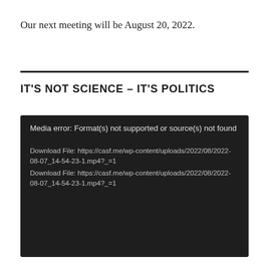Our next meeting will be August 20, 2022.
IT'S NOT SCIENCE – IT'S POLITICS
[Figure (screenshot): Dark media player error box showing: 'Media error: Format(s) not supported or source(s) not found' and two download file links to https://casf.me/wp-content/uploads/2022/08/2022-08-07_14-54-23-1.mp4?_=1]